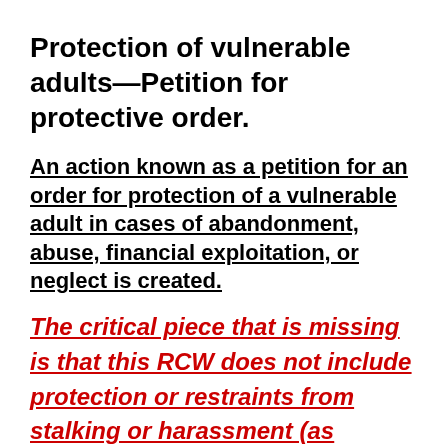Protection of vulnerable adults—Petition for protective order.
An action known as a petition for an order for protection of a vulnerable adult in cases of abandonment, abuse, financial exploitation, or neglect is created.
The critical piece that is missing is that this RCW does not include protection or restraints from stalking or harassment (as defined in RCW 9A.46.110 – text of